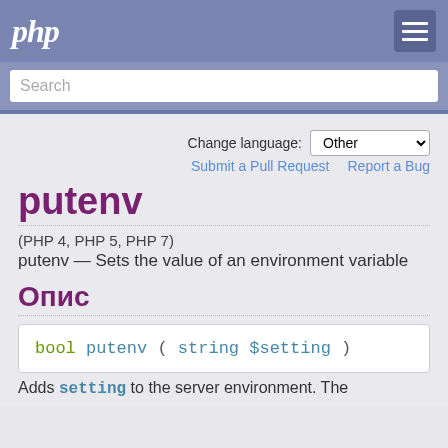php
Search
Change language: Other
Submit a Pull Request   Report a Bug
putenv
(PHP 4, PHP 5, PHP 7)
putenv — Sets the value of an environment variable
Опис
bool putenv ( string $setting )
Adds setting to the server environment. The